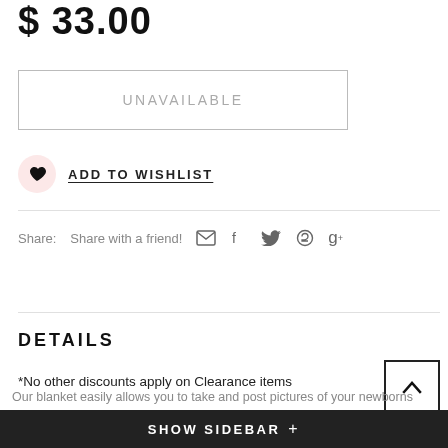$ 33.00
UNAVAILABLE
ADD TO WISHLIST
Share: Share with a friend!
DETAILS
*No other discounts apply on Clearance items
BATZkids Original Baby Milestone Blanket™ "Watch me Grow" is the perfect option for you to keep track of your babe's height and weight! THIS IS NOT INTENDED FOR ACTUAL MEASUREMENT!! This is made to help document the growth of your baby NOT meant to take actual measurements.
SHOW SIDEBAR +
Our blanket easily allows you to take and post pictures of your newborns